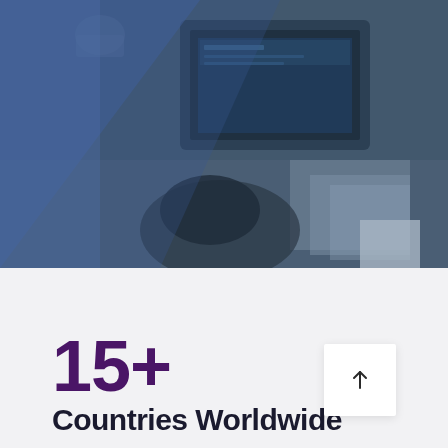[Figure (photo): Business professionals working at a desk with a laptop and documents, overlaid with a blue-to-teal color tint. A diagonal blue gradient covers the left portion of the image.]
15+
Countries Worldwide